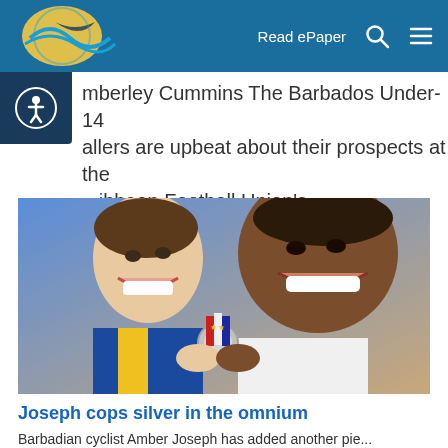Read ePaper
mberley Cummins The Barbados Under-14 allers are upbeat about their prospects at the ...ibbean Football Union's...
[Figure (photo): Two smiling athletes posing together, one holding a silver medal on a red, white and blue ribbon]
Joseph cops silver in the omnium
Barbadian cyclist Amber Joseph has added another pie...